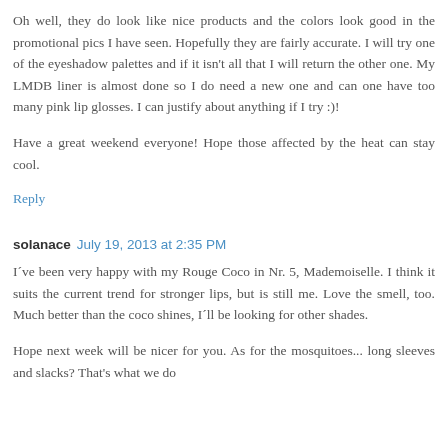Oh well, they do look like nice products and the colors look good in the promotional pics I have seen. Hopefully they are fairly accurate. I will try one of the eyeshadow palettes and if it isn't all that I will return the other one. My LMDB liner is almost done so I do need a new one and can one have too many pink lip glosses. I can justify about anything if I try :)!
Have a great weekend everyone! Hope those affected by the heat can stay cool.
Reply
solanace  July 19, 2013 at 2:35 PM
I´ve been very happy with my Rouge Coco in Nr. 5, Mademoiselle. I think it suits the current trend for stronger lips, but is still me. Love the smell, too. Much better than the coco shines, I´ll be looking for other shades.
Hope next week will be nicer for you. As for the mosquitoes... long sleeves and slacks? That's what we do